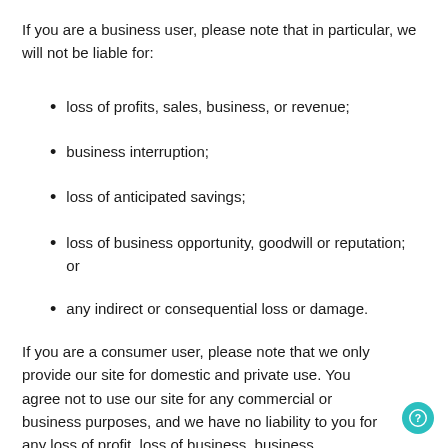If you are a business user, please note that in particular, we will not be liable for:
loss of profits, sales, business, or revenue;
business interruption;
loss of anticipated savings;
loss of business opportunity, goodwill or reputation; or
any indirect or consequential loss or damage.
If you are a consumer user, please note that we only provide our site for domestic and private use. You agree not to use our site for any commercial or business purposes, and we have no liability to you for any loss of profit, loss of business, business interruption, or loss of business opportunity.